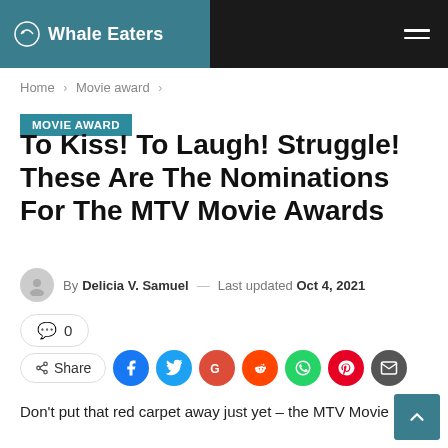Whale Eaters
Home > Movie award >
MOVIE AWARD
To Kiss! To Laugh! Struggle! These Are The Nominations For The MTV Movie Awards
By Delicia V. Samuel — Last updated Oct 4, 2021
0
Share
Don't put that red carpet away just yet – the MTV Movie Awards are the nominations for the...